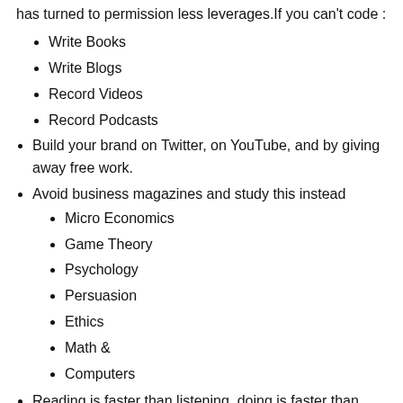has turned to permission less leverages.If you can't code :
Write Books
Write Blogs
Record Videos
Record Podcasts
Build your brand on Twitter, on YouTube, and by giving away free work.
Avoid business magazines and study this instead
Micro Economics
Game Theory
Psychology
Persuasion
Ethics
Math &
Computers
Reading is faster than listening, doing is faster than watching.
Become the best in the world at whatever the hell